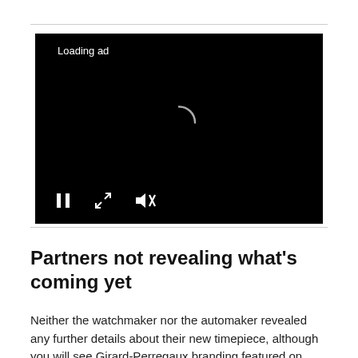[Figure (screenshot): Video player with black background showing 'Loading ad' text in upper left, a circular loading spinner in the center, and playback controls at the bottom (pause, expand, and mute icons).]
Partners not revealing what's coming yet
Neither the watchmaker nor the automaker revealed any further details about their new timepiece, although you will see Girard-Perregaux branding featured on